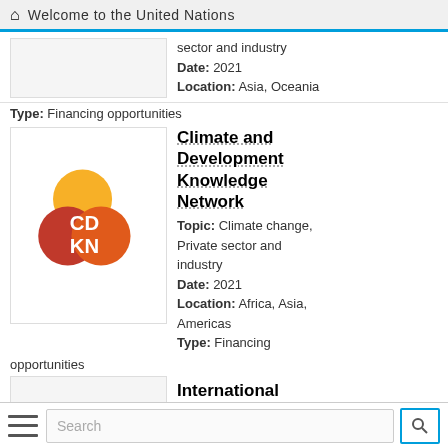Welcome to the United Nations
sector and industry
Date: 2021
Location: Asia, Oceania
Type: Financing opportunities
[Figure (logo): CDKN logo with overlapping colored circles and white text]
Climate and Development Knowledge Network
Topic: Climate change, Private sector and industry
Date: 2021
Location: Africa, Asia, Americas
Type: Financing opportunities
International
Search